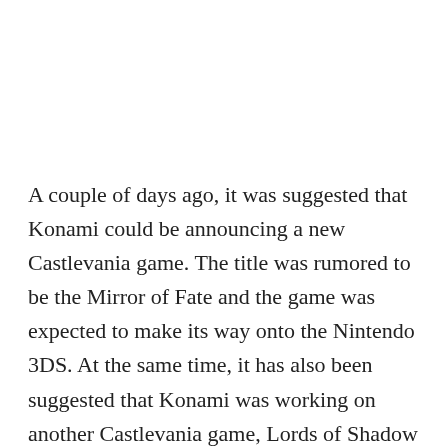A couple of days ago, it was suggested that Konami could be announcing a new Castlevania game. The title was rumored to be the Mirror of Fate and the game was expected to make its way onto the Nintendo 3DS. At the same time, it has also been suggested that Konami was working on another Castlevania game, Lords of Shadow 2 which is apparently set for a multiplatform console release. No word if either titles are to be believed, but the company has since launched a teaser website with